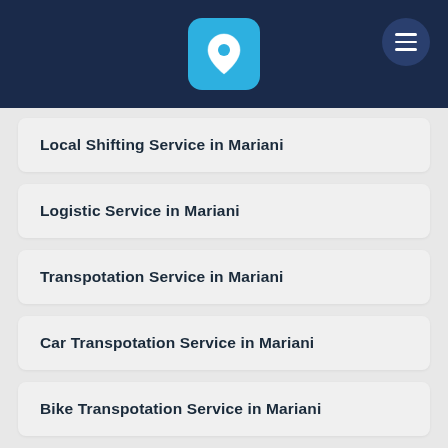[Figure (logo): App header with location pin logo on dark navy background and hamburger menu button]
Local Shifting Service in Mariani
Logistic Service in Mariani
Transpotation Service in Mariani
Car Transpotation Service in Mariani
Bike Transpotation Service in Mariani